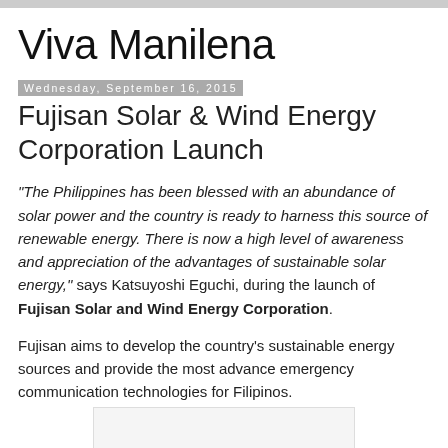Viva Manilena
Wednesday, September 16, 2015
Fujisan Solar & Wind Energy Corporation Launch
"The Philippines has been blessed with an abundance of solar power and the country is ready to harness this source of renewable energy. There is now a high level of awareness and appreciation of the advantages of sustainable solar energy," says Katsuyoshi Eguchi, during the launch of Fujisan Solar and Wind Energy Corporation.
Fujisan aims to develop the country's sustainable energy sources and provide the most advance emergency communication technologies for Filipinos.
[Figure (other): Image placeholder at bottom of page]